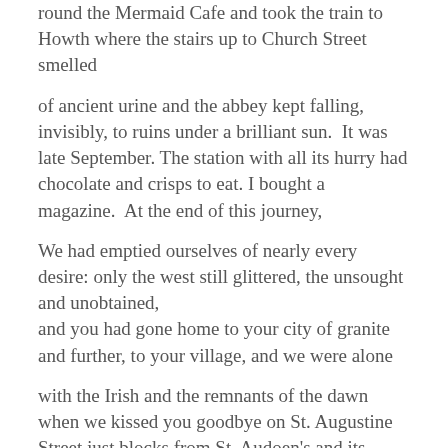round the Mermaid Cafe and took the train to Howth where the stairs up to Church Street smelled
of ancient urine and the abbey kept falling, invisibly, to ruins under a brilliant sun.  It was late September. The station with all its hurry had chocolate and crisps to eat. I bought a magazine.  At the end of this journey,
We had emptied ourselves of nearly every desire: only the west still glittered, the unsought and unobtained,
and you had gone home to your city of granite and further, to your village, and we were alone
with the Irish and the remnants of the dawn when we kissed you goodbye on St. Augustine Street just blocks from St. Audoen's and its ceiling made of clouds, only hours from the last sunlight
that poured like a river down the stone street.